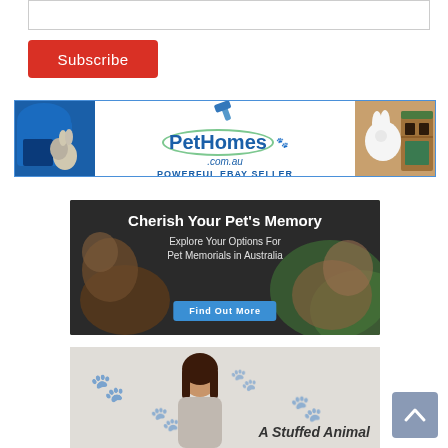[Figure (screenshot): Text input/subscription box (empty input field)]
[Figure (screenshot): Red Subscribe button]
[Figure (illustration): PetHomes.com.au banner ad — POWERFUL EBAY SELLER — shows pet enclosures, rabbits, and a wooden hutch]
[Figure (illustration): Cherish Your Pet's Memory ad — Explore Your Options For Pet Memorials in Australia — Find Out More button]
[Figure (illustration): A Stuffed Animal partial ad showing woman and text]
[Figure (screenshot): Scroll-to-top button (upward chevron on grey-blue background)]